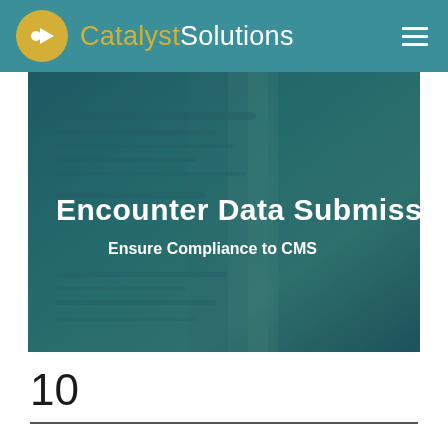Catalyst Solutions
[Figure (illustration): Hero image with teal/teal-green textured background showing an aerial or abstract water/terrain view with the title 'Encounter Data Submission' and subtitle 'Ensure Compliance to CMS' overlaid in white text]
Encounter Data Submission
Ensure Compliance to CMS
10